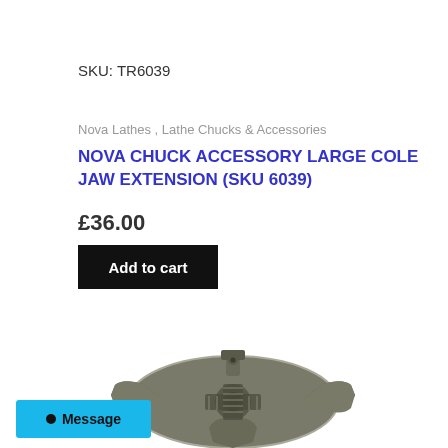SKU: TR6039
Nova Lathes , Lathe Chucks & Accessories
NOVA CHUCK ACCESSORY LARGE COLE JAW EXTENSION (SKU 6039)
£36.00
Add to cart
[Figure (photo): Metal lathe chuck accessory — a large Cole jaw extension piece with four-jaw cross pattern, viewed from above, in a dark metallic grey colour.]
Message